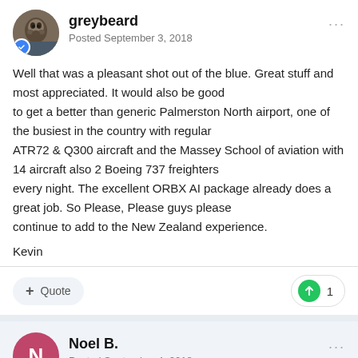greybeard — Posted September 3, 2018
Well that was a pleasant shot out of the blue. Great stuff and most appreciated. It would also be good to get a better than generic Palmerston North airport, one of the busiest in the country with regular ATR72 & Q300 aircraft and the Massey School of aviation with 14 aircraft also 2 Boeing 737 freighters every night. The excellent ORBX AI package already does a great job. So Please, Please guys please continue to add to the New Zealand experience.
Kevin
Noel B. — Posted September 4, 2018